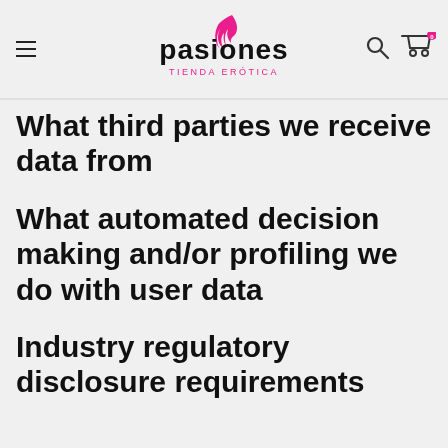pasiones TIENDA ERÓTICA
What third parties we receive data from
What automated decision making and/or profiling we do with user data
Industry regulatory disclosure requirements